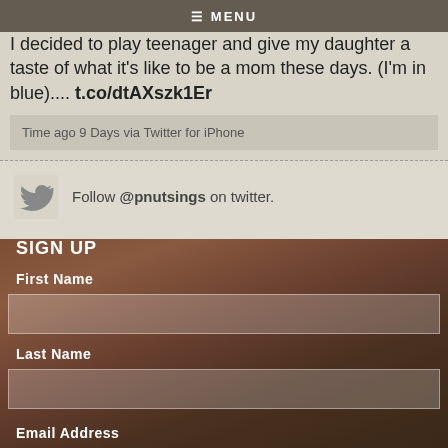MENU
I decided to play teenager and give my daughter a taste of what it's like to be a mom these days. (I'm in blue).... t.co/dtAXszk1Er
Time ago 9 Days via Twitter for iPhone
Follow @pnutsings on twitter.
SIGN UP
First Name
Last Name
Email Address